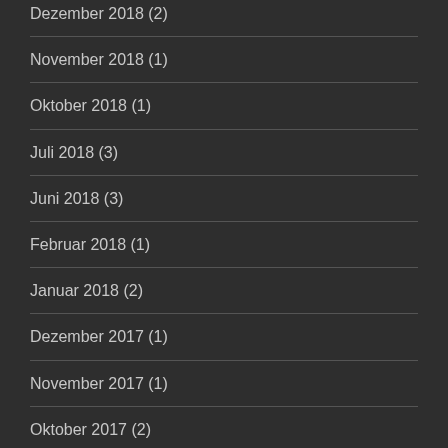Dezember 2018 (2)
November 2018 (1)
Oktober 2018 (1)
Juli 2018 (3)
Juni 2018 (3)
Februar 2018 (1)
Januar 2018 (2)
Dezember 2017 (1)
November 2017 (1)
Oktober 2017 (2)
September 2017 (2)
August 2017 (1)